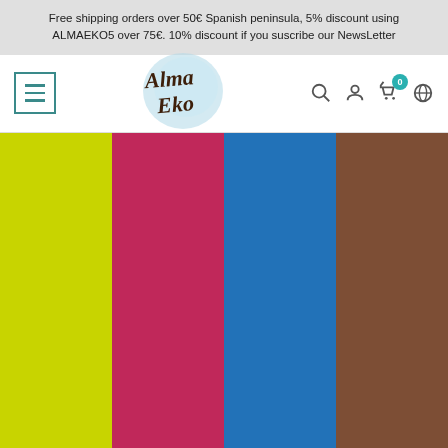Free shipping orders over 50€ Spanish peninsula, 5% discount using ALMAEKO5 over 75€. 10% discount if you suscribe our NewsLetter
[Figure (logo): Alma Eko logo with decorative circular watercolor background and stylized text]
[Figure (photo): Four natural deodorant products in yellow, pink/red, blue, and brown packaging, each labeled NATURAL DEODORANT]
Almaeko.com uses its own and third-party cookies to improve our services and collect statistics on your preferences by analyzing your browsing habits. To give your consent to its use, press the Accept button. To choose which cookies to accept or reject, go to Manage cookies.  More information  customize cookies
Natural, Non-Toxic Deodorants Ben & Anna (Choose Fragrance)
I ACCEPT